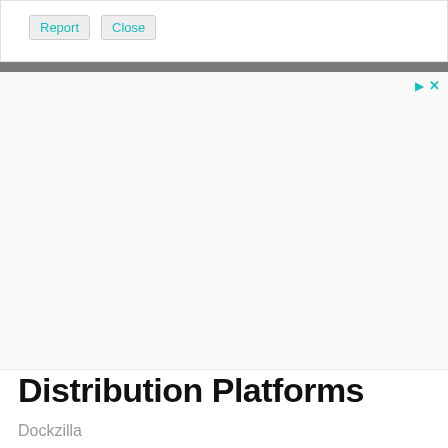Report  Close
[Figure (other): Advertisement banner area with play and close controls in the top-right corner. The ad content area is mostly blank/white with faint placeholder imagery.]
Distribution Platforms
Dockzilla